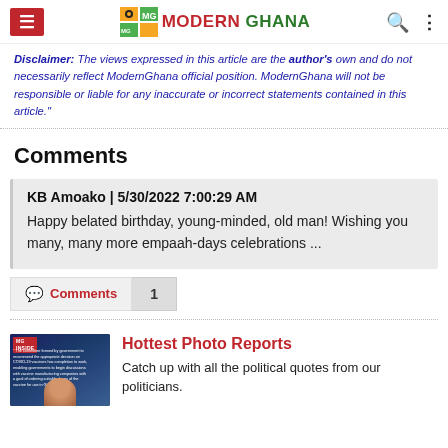Modern Ghana
Disclaimer: The views expressed in this article are the author's own and do not necessarily reflect ModernGhana official position. ModernGhana will not be responsible or liable for any inaccurate or incorrect statements contained in this article."
Comments
KB Amoako | 5/30/2022 7:00:29 AM
Happy belated birthday, young-minded, old man! Wishing you many, many more empaah-days celebrations ...
Comments  1
[Figure (photo): Thumbnail image with MG Inside badge and a person's face]
Hottest Photo Reports
Catch up with all the political quotes from our politicians.